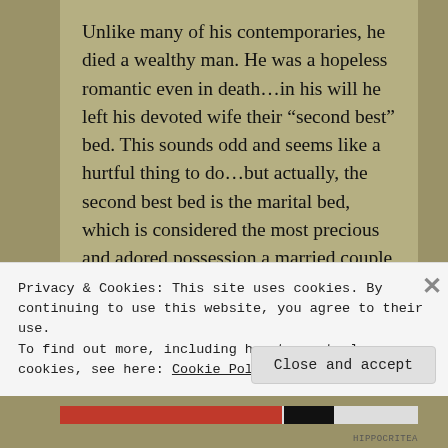Unlike many of his contemporaries, he died a wealthy man. He was a hopeless romantic even in death...in his will he left his devoted wife their “second best” bed. This sounds odd and seems like a hurtful thing to do...but actually, the second best bed is the marital bed, which is considered the most precious and adored possession a married couple has. It was a sign of how much he adored and loved her.
Privacy & Cookies: This site uses cookies. By continuing to use this website, you agree to their use.
To find out more, including how to control cookies, see here: Cookie Policy